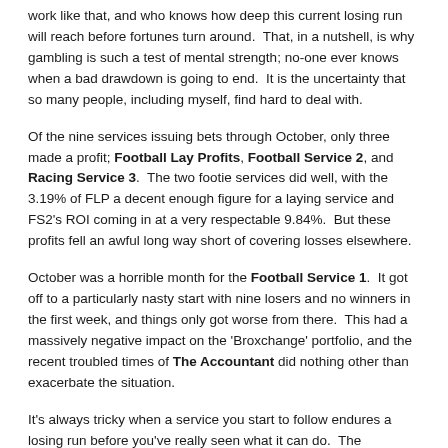work like that, and who knows how deep this current losing run will reach before fortunes turn around.  That, in a nutshell, is why gambling is such a test of mental strength; no-one ever knows when a bad drawdown is going to end.  It is the uncertainty that so many people, including myself, find hard to deal with.
Of the nine services issuing bets through October, only three made a profit; Football Lay Profits, Football Service 2, and Racing Service 3.  The two footie services did well, with the 3.19% of FLP a decent enough figure for a laying service and FS2's ROI coming in at a very respectable 9.84%.  But these profits fell an awful long way short of covering losses elsewhere.
October was a horrible month for the Football Service 1.  It got off to a particularly nasty start with nine losers and no winners in the first week, and things only got worse from there.  This had a massively negative impact on the 'Broxchange' portfolio, and the recent troubled times of The Accountant did nothing other than exacerbate the situation.
It's always tricky when a service you start to follow endures a losing run before you've really seen what it can do.  The temptation is to question your own judgment in deciding to subscribe, and it is so